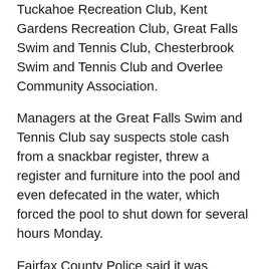Tuckahoe Recreation Club, Kent Gardens Recreation Club, Great Falls Swim and Tennis Club, Chesterbrook Swim and Tennis Club and Overlee Community Association.
Managers at the Great Falls Swim and Tennis Club say suspects stole cash from a snackbar register, threw a register and furniture into the pool and even defecated in the water, which forced the pool to shut down for several hours Monday.
Fairfax County Police said it was investigating three of the reports, while Arlington County police responded to the Overlee pool.
Rob Castorri, general manager of the Tuckahoe Recreation Club, says his pool facility was spared any damage or theft, but it appears burglars took cash